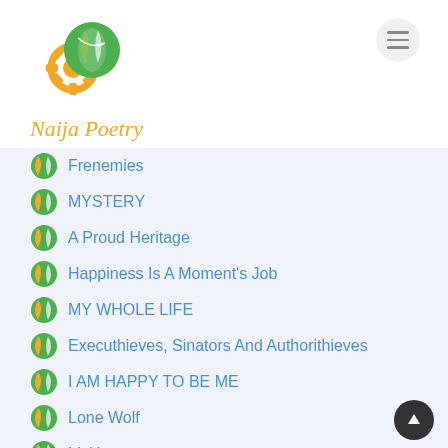Naija Poetry
Frenemies
MYSTERY
A Proud Heritage
Happiness Is A Moment's Job
MY WHOLE LIFE
Executhieves, Sinators And Authorithieves
I AM HAPPY TO BE ME
Lone Wolf
I L Y
Do-Re-Me-Fo-Sa-La-Ti-Do
The Voice Of God
Forbidden Love
The Mystery Of God's Love ADITU)
The Day Walks Into The Sunset
Cry....And Let Me See
Alone
I Am Me
Meet Me Where The Traffic Jams